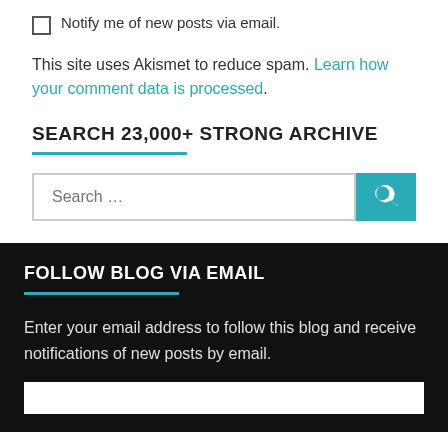Notify me of new posts via email.
This site uses Akismet to reduce spam. Learn how your comment data is processed.
SEARCH 23,000+ STRONG ARCHIVE
[Figure (other): Search input field with teal search button and magnifying glass icon]
FOLLOW BLOG VIA EMAIL
Enter your email address to follow this blog and receive notifications of new posts by email.